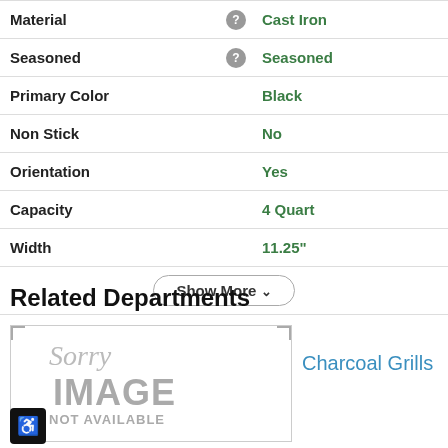| Attribute |  | Value |
| --- | --- | --- |
| Material | ? | Cast Iron |
| Seasoned | ? | Seasoned |
| Primary Color |  | Black |
| Non Stick |  | No |
| Orientation |  | Yes |
| Capacity |  | 4 Quart |
| Width |  | 11.25" |
Show More ∨
Related Departments
[Figure (photo): Sorry IMAGE NOT AVAILABLE placeholder thumbnail]
Charcoal Grills